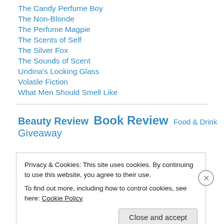The Candy Perfume Boy
The Non-Blonde
The Perfume Magpie
The Scents of Self
The Silver Fox
The Sounds of Scent
Undina's Looking Glass
Volatile Fiction
What Men Should Smell Like
Beauty Review  Book Review  Food & Drink  Giveaway
Privacy & Cookies: This site uses cookies. By continuing to use this website, you agree to their use.
To find out more, including how to control cookies, see here: Cookie Policy
Close and accept